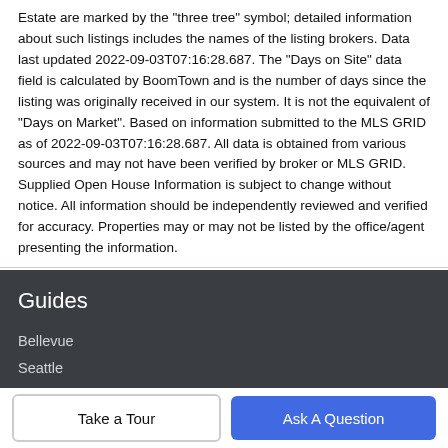Estate are marked by the "three tree" symbol; detailed information about such listings includes the names of the listing brokers. Data last updated 2022-09-03T07:16:28.687. The "Days on Site" data field is calculated by BoomTown and is the number of days since the listing was originally received in our system. It is not the equivalent of "Days on Market". Based on information submitted to the MLS GRID as of 2022-09-03T07:16:28.687. All data is obtained from various sources and may not have been verified by broker or MLS GRID. Supplied Open House Information is subject to change without notice. All information should be independently reviewed and verified for accuracy. Properties may or may not be listed by the office/agent presenting the information.
Guides
Bellevue
Seattle
Edgewood